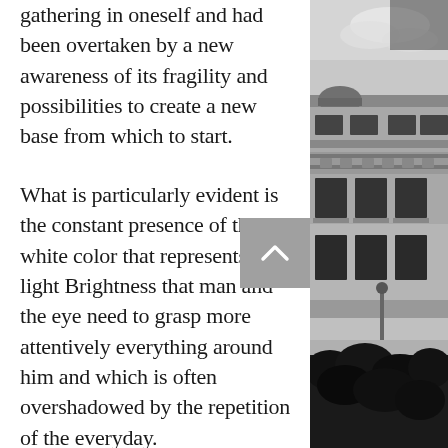gathering in oneself and had been overtaken by a new awareness of its fragility and possibilities to create a new base from which to start.
What is particularly evident is the constant presence of the white color that represents the light Brightness that man and the eye need to grasp more attentively everything around him and which is often overshadowed by the repetition of the everyday.
On the other hand, the neutral color also serves to define emptiness that alternates with the full color density. Immediately adjacent space that seems to be the pause between the events,
[Figure (photo): Black and white photograph showing a classical European building facade with ornate architectural details, windows, and decorative elements. Sky with clouds visible at the top, dark foliage at the bottom.]